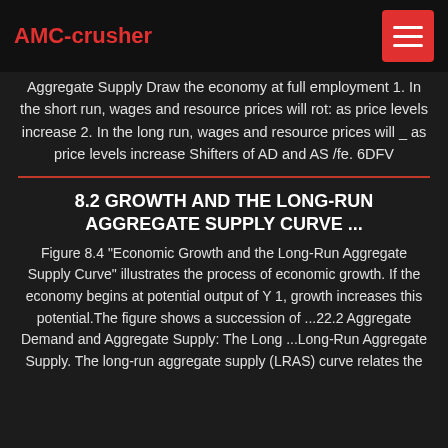AMC-crusher
Aggregate Supply Draw the economy at full employment 1. In the short run, wages and resource prices will rot: as price levels increase 2. In the long run, wages and resource prices will _ as price levels increase Shifters of AD and AS /fe. 6DFV
8.2 GROWTH AND THE LONG-RUN AGGREGATE SUPPLY CURVE ...
Figure 8.4 "Economic Growth and the Long-Run Aggregate Supply Curve" illustrates the process of economic growth. If the economy begins at potential output of Y 1, growth increases this potential.The figure shows a succession of ...22.2 Aggregate Demand and Aggregate Supply: The Long ...Long-Run Aggregate Supply. The long-run aggregate supply (LRAS) curve relates the